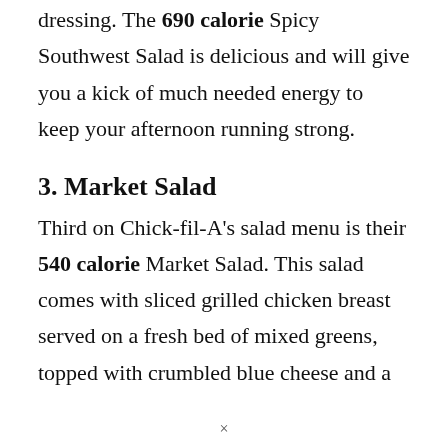dressing. The 690 calorie Spicy Southwest Salad is delicious and will give you a kick of much needed energy to keep your afternoon running strong.
3. Market Salad
Third on Chick-fil-A's salad menu is their 540 calorie Market Salad. This salad comes with sliced grilled chicken breast served on a fresh bed of mixed greens, topped with crumbled blue cheese and a
×